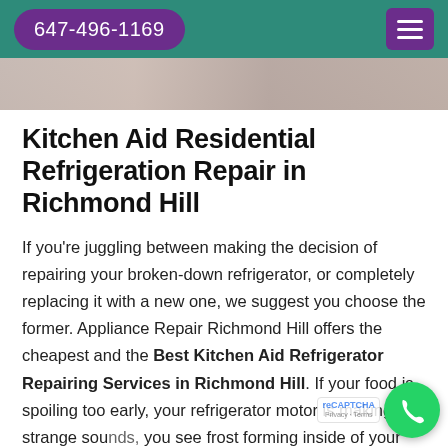647-496-1169
[Figure (photo): Top portion of a photo showing appliance repair tools or refrigerator interior, partially visible as a strip]
Kitchen Aid Residential Refrigeration Repair in Richmond Hill
If you're juggling between making the decision of repairing your broken-down refrigerator, or completely replacing it with a new one, we suggest you choose the former. Appliance Repair Richmond Hill offers the cheapest and the Best Kitchen Aid Refrigerator Repairing Services in Richmond Hill. If your food is spoiling too early, your refrigerator motor is making strange sounds, you see frost forming inside of your refrigerator